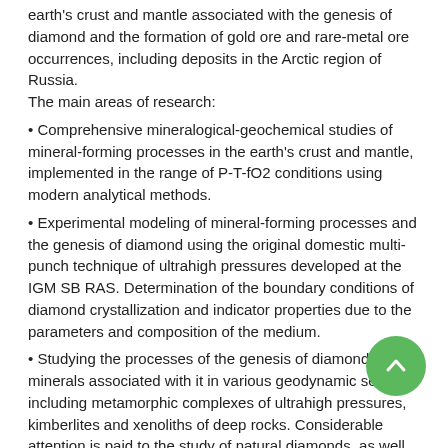earth's crust and mantle associated with the genesis of diamond and the formation of gold ore and rare-metal ore occurrences, including deposits in the Arctic region of Russia.
The main areas of research:
• Comprehensive mineralogical-geochemical studies of mineral-forming processes in the earth's crust and mantle, implemented in the range of P-T-fO2 conditions using modern analytical methods.
• Experimental modeling of mineral-forming processes and the genesis of diamond using the original domestic multi-punch technique of ultrahigh pressures developed at the IGM SB RAS. Determination of the boundary conditions of diamond crystallization and indicator properties due to the parameters and composition of the medium.
• Studying the processes of the genesis of diamond and minerals associated with it in various geodynamic settings, including metamorphic complexes of ultrahigh pressures, kimberlites and xenoliths of deep rocks. Considerable attention is paid to the study of natural diamonds, as well as to their inclusion aimed at developing models of the diamond genesis and related to global problems of mantle mineralogy and deep carbon cycle.
• Study of the processes and mechanisms of the formation and